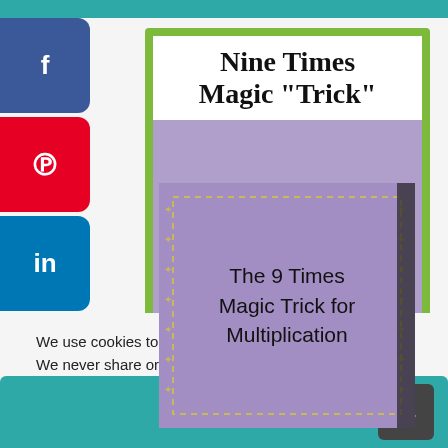[Figure (screenshot): Social sharing sidebar with Facebook, Pinterest, LinkedIn, Email, and WhatsApp buttons on the left side of the page]
[Figure (illustration): Educational product image showing 'Nine Times Magic Trick' title card with a purple background and an inner preview of a book cover titled 'The 9 Times Magic Trick for Multiplication']
We use cookies to optimize our website and our service. We never share or sell your information.
Accept